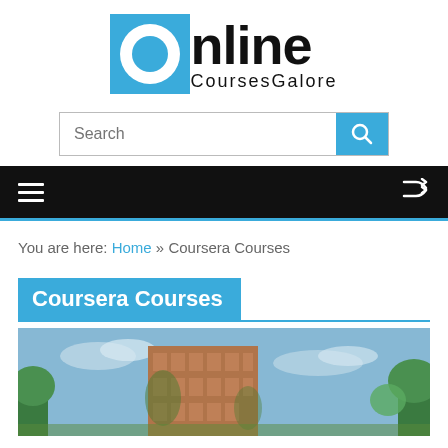[Figure (logo): Online Courses Galore logo with blue square icon containing white circle and blue circle, next to bold 'Online' text and 'CoursesGalore' subtitle]
[Figure (screenshot): Search bar with 'Search' placeholder text and blue search button with magnifying glass icon]
[Figure (screenshot): Black navigation bar with hamburger menu icon on left and shuffle icon on right]
You are here: Home » Coursera Courses
Coursera Courses
[Figure (photo): Photo of a brick university building with ivy, trees, and blue sky background]